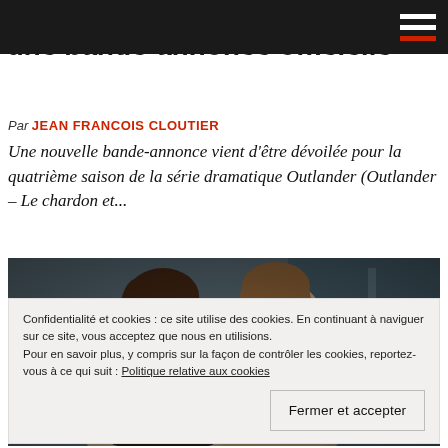une bande-annonce officielle
Par JEAN FRANCOIS CLOUTIER
Une nouvelle bande-annonce vient d'être dévoilée pour la quatrième saison de la série dramatique Outlander (Outlander – Le chardon et...
[Figure (photo): Two actors from the TV series Outlander, a woman and a man, posed closely together in a dimly lit scene.]
Confidentialité et cookies : ce site utilise des cookies. En continuant à naviguer sur ce site, vous acceptez que nous en utilisions. Pour en savoir plus, y compris sur la façon de contrôler les cookies, reportez-vous à ce qui suit : Politique relative aux cookies
Fermer et accepter